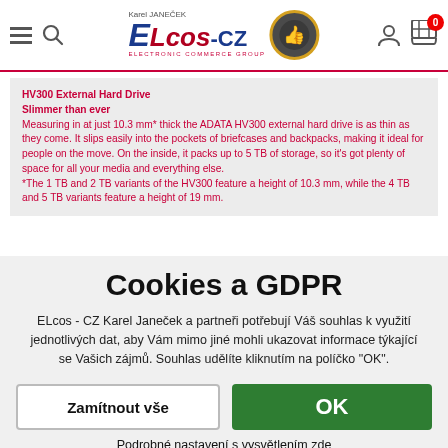[Figure (logo): ELcos-cz Karel Janeček e-shop logo with thumbs-up badge]
HV300 External Hard Drive
Slimmer than ever
Measuring in at just 10.3 mm* thick the ADATA HV300 external hard drive is as thin as they come. It slips easily into the pockets of briefcases and backpacks, making it ideal for people on the move. On the inside, it packs up to 5 TB of storage, so it's got plenty of space for all your media and everything else.
*The 1 TB and 2 TB variants of the HV300 feature a height of 10.3 mm, while the 4 TB and 5 TB variants feature a height of 19 mm.
Cookies a GDPR
ELcos - CZ Karel Janeček a partneři potřebují Váš souhlas k využití jednotlivých dat, aby Vám mimo jiné mohli ukazovat informace týkající se Vašich zájmů. Souhlas udělíte kliknutím na políčko "OK".
Zamítnout vše
OK
Podrobné nastavení s vysvětlením zde